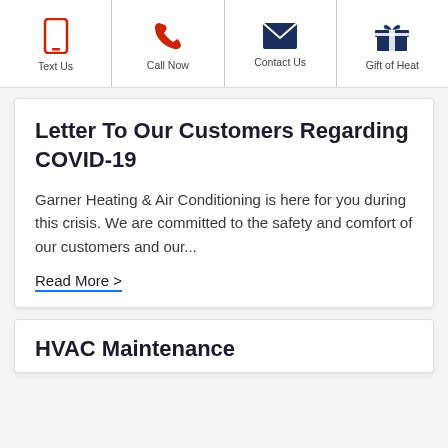Text Us | Call Now | Contact Us | Gift of Heat
Letter To Our Customers Regarding COVID-19
Garner Heating & Air Conditioning is here for you during this crisis. We are committed to the safety and comfort of our customers and our...
Read More >
HVAC Maintenance